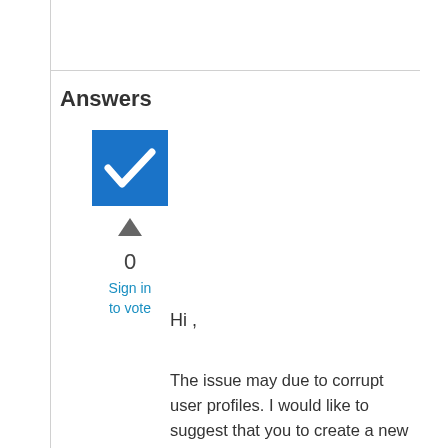Answers
[Figure (other): Blue checkbox with white checkmark icon, up-arrow vote button, vote count 0, and sign in to vote link]
Hi ,
The issue may due to corrupt user profiles. I would like to suggest that you to create a new account and copy your old profile to the new one. Below is a thread discussing about how to do this